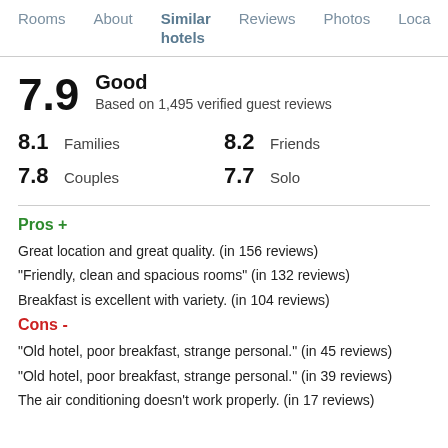Rooms  About  Similar hotels  Reviews  Photos  Loca
7.9  Good
Based on 1,495 verified guest reviews
8.1  Families    8.2  Friends
7.8  Couples    7.7  Solo
Pros +
Great location and great quality. (in 156 reviews)
"Friendly, clean and spacious rooms" (in 132 reviews)
Breakfast is excellent with variety. (in 104 reviews)
Cons -
"Old hotel, poor breakfast, strange personal." (in 45 reviews)
"Old hotel, poor breakfast, strange personal." (in 39 reviews)
The air conditioning doesn't work properly. (in 17 reviews)